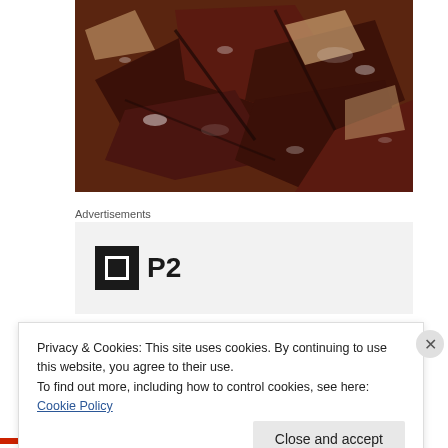[Figure (photo): Close-up photo of broken chocolate bark pieces with salt on a reflective surface. Dark brown chocolate shards stacked on top of each other.]
Advertisements
[Figure (logo): P2 logo: black square icon with white border rectangle on left, bold text 'P2' on right]
Privacy & Cookies: This site uses cookies. By continuing to use this website, you agree to their use.
To find out more, including how to control cookies, see here: Cookie Policy
Close and accept